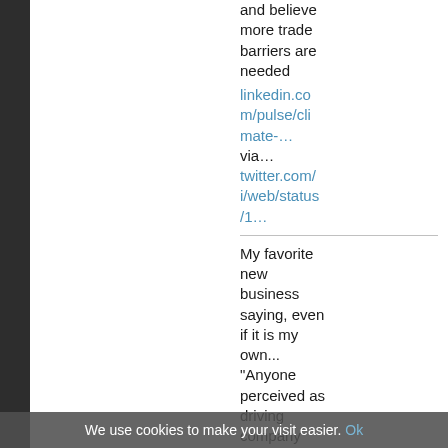and believe more trade barriers are needed
linkedin.com/pulse/climate-… via… twitter.com/i/web/status/1…
My favorite new business saying, even if it is my own... "Anyone perceived as driving company growth is a hero. Eve…
We use cookies to make your visit easier. Ok